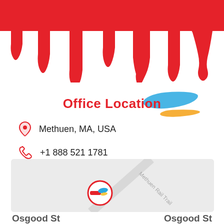[Figure (illustration): Red paint drip header graphic at top of page]
Office Location
Methuen, MA, USA
+1 888 521 1781
[Figure (map): Google map showing Methuen Rail Trail area with a custom red-circle paint brush logo marker. Bottom shows Osgood St labels.]